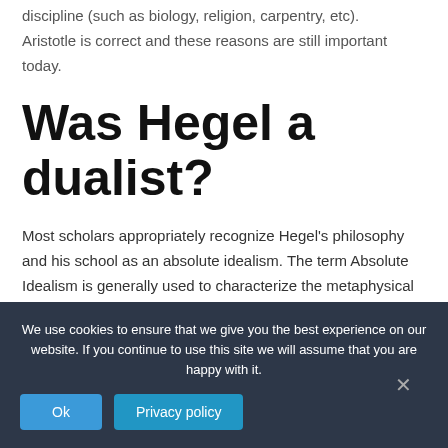discipline (such as biology, religion, carpentry, etc). Aristotle is correct and these reasons are still important today.
Was Hegel a dualist?
Most scholars appropriately recognize Hegel's philosophy and his school as an absolute idealism. The term Absolute Idealism is generally used to characterize the metaphysical view that Hegel presents in his philosophy.
We use cookies to ensure that we give you the best experience on our website. If you continue to use this site we will assume that you are happy with it.